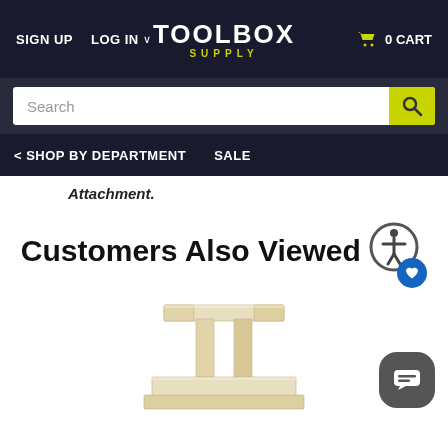SIGN UP  LOG IN  TOOLBOX SUPPLY  0 CART
Search
SHOP BY DEPARTMENT  SALE
Attachment.
Customers Also Viewed
[Figure (photo): Wooden I-beam or T-beam shaped wooden block product photo on white background]